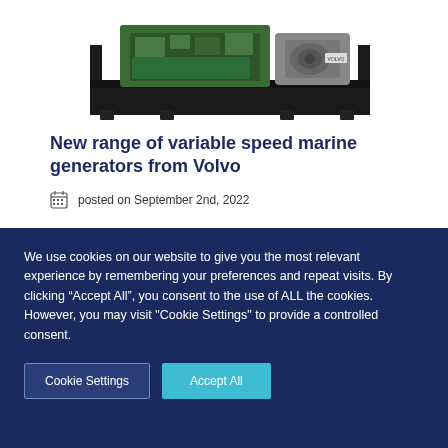[Figure (photo): A marine generator unit with green engine block and electric motor mounted on a black steel frame/skid, viewed from a three-quarter angle.]
New range of variable speed marine generators from Volvo
posted on September 2nd, 2022
We use cookies on our website to give you the most relevant experience by remembering your preferences and repeat visits. By clicking “Accept All”, you consent to the use of ALL the cookies. However, you may visit "Cookie Settings" to provide a controlled consent.